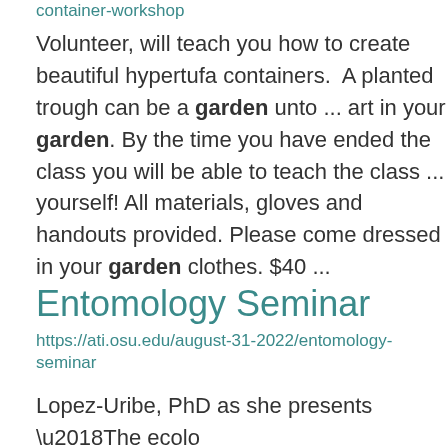container-workshop
Volunteer, will teach you how to create beautiful hypertufa containers.  A planted trough can be a garden unto ... art in your garden. By the time you have ended the class you will be able to teach the class ... yourself! All materials, gloves and handouts provided. Please come dressed in your garden clothes. $40 ...
Entomology Seminar
https://ati.osu.edu/august-31-2022/entomology-seminar
Lopez-Uribe, PhD as she presents ‘The ecolo and evolution of wild bees in agricultural area